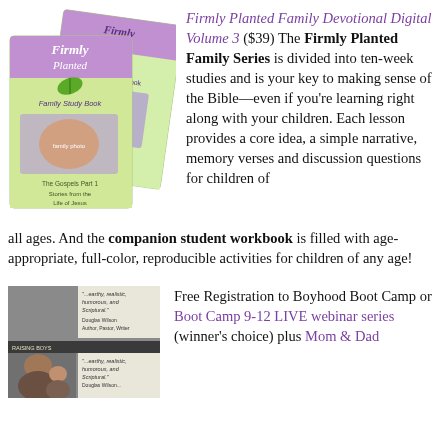[Figure (photo): Two green book covers: 'Firmly Planted Family Study Book' and 'Firmly Planted Student Workbook', both subtitled 'The Gospels Part 1 – Stories from the Life of Jesus', with purple and green design and family photos.]
Firmly Planted Family Devotional Digital Volume 3 ($39) The Firmly Planted Family Series is divided into ten-week studies and is your key to making sense of the Bible—even if you're learning right along with your children. Each lesson provides a core idea, a simple narrative, memory verses and discussion questions for children of all ages. And the companion student workbook is filled with age-appropriate, full-color, reproducible activities for children of any age!
[Figure (photo): Photo of a man and child (father and son) with a book cover partially visible, with text fragments '...earthy, realistic, humorous, and Scriptural.' – Douglas Wilson]
Free Registration to Boyhood Boot Camp or Boot Camp 9-12 LIVE webinar series (winner's choice) plus Mom & Dad